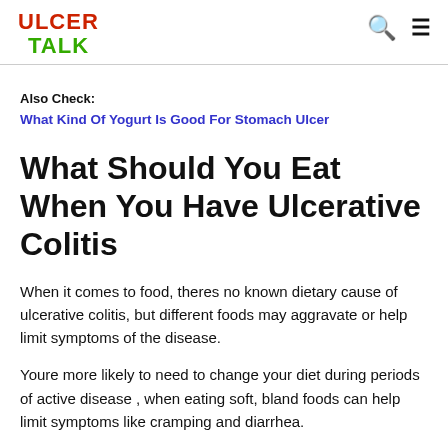ULCER TALK
Also Check:
What Kind Of Yogurt Is Good For Stomach Ulcer
What Should You Eat When You Have Ulcerative Colitis
When it comes to food, theres no known dietary cause of ulcerative colitis, but different foods may aggravate or help limit symptoms of the disease.
Youre more likely to need to change your diet during periods of active disease , when eating soft, bland foods can help limit symptoms like cramping and diarrhea.